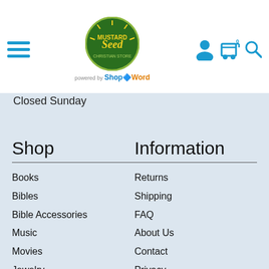Mustard Seed — Navigation header with hamburger menu, logo, and icons
Closed Sunday
Shop
Books
Bibles
Bible Accessories
Music
Movies
Jewelry
Church Supplies
Clothing & Apparel
Homegoods
Toys & Games
Information
Returns
Shipping
FAQ
About Us
Contact
Privacy
Terms & Conditions
Cancellations